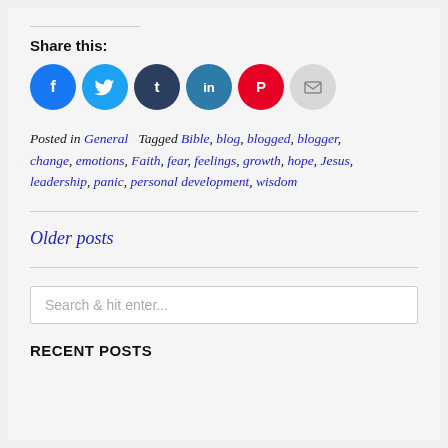Share this:
[Figure (other): Social sharing icons: Facebook (blue), Twitter (light blue), Tumblr (dark navy), LinkedIn (teal), Pinterest (red), Email (gray)]
Posted in General   Tagged Bible, blog, blogged, blogger, change, emotions, Faith, fear, feelings, growth, hope, Jesus, leadership, panic, personal development, wisdom
Older posts
Search & hit enter...
RECENT POSTS